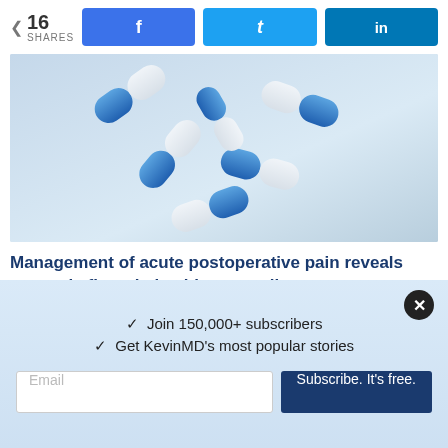16 SHARES | Facebook share | Twitter share | LinkedIn share
[Figure (photo): Blue and white pharmaceutical capsule pills floating on a light blue background]
Management of acute postoperative pain reveals systemic flaws in health care policy
ROSS ZBAR, MD | PHYSICIAN
[Figure (photo): Partial view of a second article image showing bread/baked goods on left and gray gradient on right]
✓  Join 150,000+ subscribers
✓  Get KevinMD's most popular stories
Email
Subscribe. It's free.